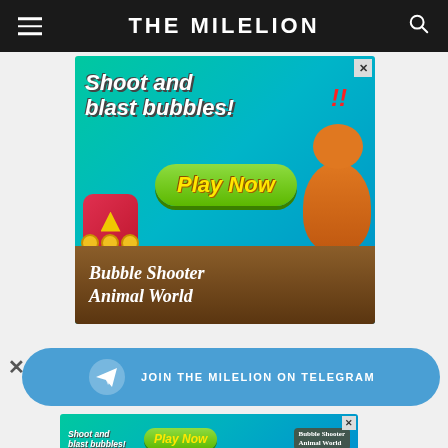THE MILELION
[Figure (illustration): Advertisement banner for Bubble Shooter Animal World game. Teal/green gradient background with cartoon animals. Text reads 'Shoot and blast bubbles!' with a green 'Play Now' button and red exclamation marks. Bottom brown band says 'Bubble Shooter Animal World'.]
[Figure (infographic): Blue rounded banner: 'JOIN THE MILELION ON TELEGRAM' with Telegram arrow icon on left. Close X button on far left outside banner.]
[Figure (illustration): Smaller version of Bubble Shooter Animal World advertisement at bottom of page, partially visible.]